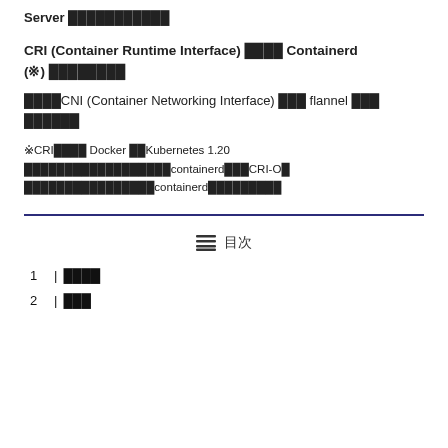Server ███████████
CRI (Container Runtime Interface) ████ Containerd (※) ████████
████CNI (Container Networking Interface) ███ flannel ███ ██████
※CRI████ Docker ██Kubernetes 1.20 ██████████████████containerd███CRI-O█ ████████████████containerd█████████
≡ 目次 | 1 | ████ | 2 | ███